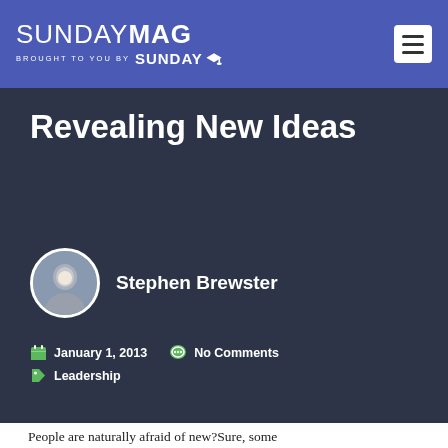SUNDAYMAG BROUGHT TO YOU BY SUNDAY U
Revealing New Ideas
Stephen Brewster
January 1, 2013  No Comments  Leadership
People are naturally afraid of new?Sure, some